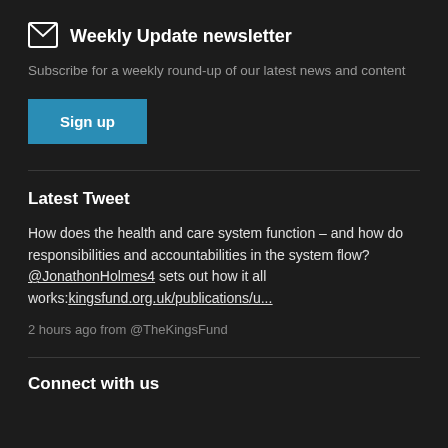Weekly Update newsletter
Subscribe for a weekly round-up of our latest news and content
[Figure (other): Sign up button for newsletter, teal/blue background with white bold text 'Sign up']
Latest Tweet
How does the health and care system function – and how do responsibilities and accountabilities in the system flow? @JonathonHolmes4 sets out how it all works:kingsfund.org.uk/publications/u...
2 hours ago from @TheKingsFund
Connect with us